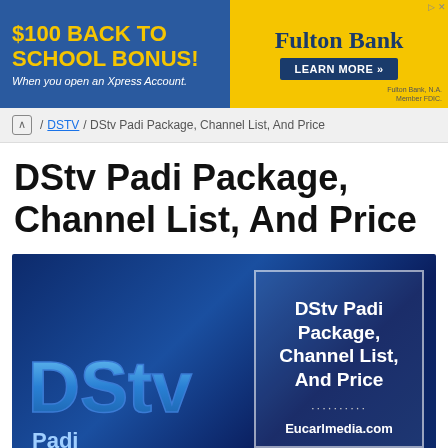[Figure (infographic): Fulton Bank advertisement banner: '$100 BACK TO SCHOOL BONUS! When you open an Xpress Account.' with Fulton Bank logo and 'LEARN MORE' button on yellow background]
/ DSTV / DStv Padi Package, Channel List, And Price
DStv Padi Package, Channel List, And Price
[Figure (infographic): DStv Padi Package promotional image with DStv logo on blue gradient background and text box reading 'DStv Padi Package, Channel List, And Price' with 'Eucarlmedia.com' at bottom right, and 'Padi' text at bottom left]